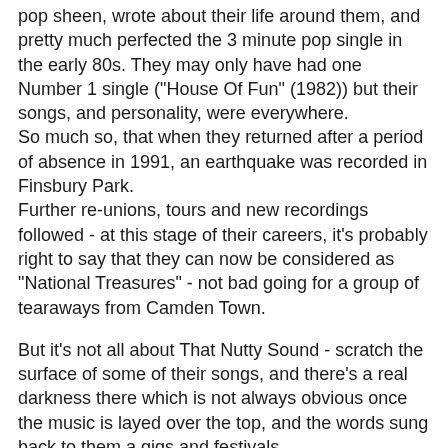pop sheen, wrote about their life around them, and pretty much perfected the 3 minute pop single in the early 80s. They may only have had one Number 1 single ("House Of Fun" (1982)) but their songs, and personality, were everywhere.
So much so, that when they returned after a period of absence in 1991, an earthquake was recorded in Finsbury Park.
Further re-unions, tours and new recordings followed - at this stage of their careers, it's probably right to say that they can now be considered as "National Treasures" - not bad going for a group of tearaways from Camden Town.
But it's not all about That Nutty Sound - scratch the surface of some of their songs, and there's a real darkness there which is not always obvious once the music is layed over the top, and the words sung back to them a gigs and festivals.
So lets start with track 1 of 'Complete Madness' - the 1982 compilation that collected the last 3 years worth of singles, and probably marks a point where the band started to believe there may be a career in this.  'Complete Madness'